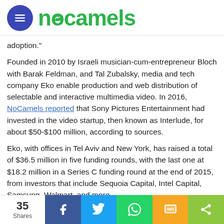[Figure (logo): NoCamels logo with blue circle menu icon and green text logo]
adoption."
Founded in 2010 by Israeli musician-cum-entrepreneur Bloch with Barak Feldman, and Tal Zubalsky, media and tech company Eko enable production and web distribution of selectable and interactive multimedia video. In 2016, NoCamels reported that Sony Pictures Entertainment had invested in the video startup, then known as Interlude, for about $50-$100 million, according to sources.
Eko, with offices in Tel Aviv and New York, has raised a total of $36.5 million in five funding rounds, with the last one at $18.2 million in a Series C funding round at the end of 2015, from investors that include Sequoia Capital, Intel Capital, Samsung, Walmart, and more.
[Figure (infographic): Social share bar with 35 shares count, Facebook, Twitter, WhatsApp, SMS, and more share buttons]